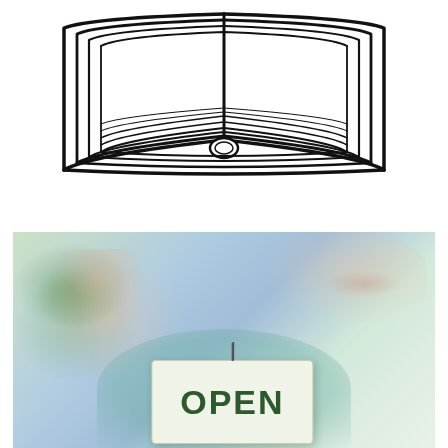[Figure (illustration): Line drawing illustration of an open book viewed from the front, showing pages fanned open symmetrically with a binding in the center, outlined in black on white background]
[Figure (photo): Photograph of a smiling person holding up a sign that reads OPEN, in a blurred outdoor/storefront setting. The person is wearing a light teal/blue shirt and appears to be hanging or displaying the sign on a glass door or window.]